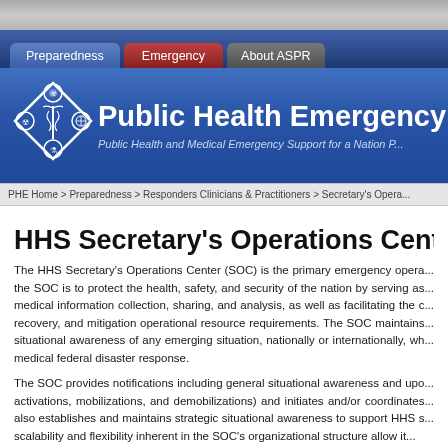[Figure (screenshot): Website navigation header with gray top bar, blue navigation tabs (Preparedness, Emergency, About ASPR), blue banner with Public Health Emergency logo and title, and breadcrumb navigation]
Preparedness | Emergency | About ASPR
HHS Secretary's Operations Center
The HHS Secretary's Operations Center (SOC) is the primary emergency opera... the SOC is to protect the health, safety, and security of the nation by serving as... medical information collection, sharing, and analysis, as well as facilitating the c... recovery, and mitigation operational resource requirements. The SOC maintains... situational awareness of any emerging situation, nationally or internationally, wh... medical federal disaster response.
The SOC provides notifications including general situational awareness and upo... activations, mobilizations, and demobilizations) and initiates and/or coordinates... also establishes and maintains strategic situational awareness to support HHS s... scalability and flexibility inherent in the SOC's organizational structure allow it...